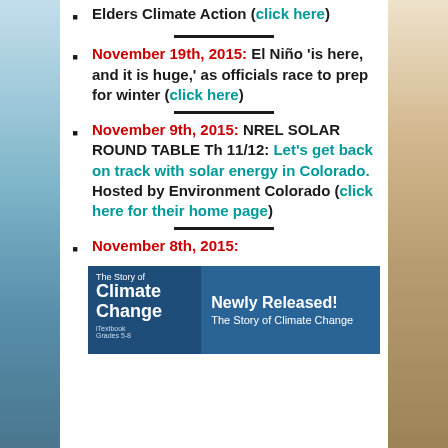Elders Climate Action (click here)
November 19th, 2015: El Niño 'is here, and it is huge,' as officials race to prep for winter (click here)
November 9th, 2015: NREL SOLAR ROUND TABLE Th 11/12: Let's get back on track with solar energy in Colorado. Hosted by Environment Colorado (click here for their home page)
November 8th, 2015:
[Figure (illustration): Book banner for 'The Story of Climate Change' iTextbook Grades 5-8 with 'Newly Released! The Story of Climate Change' text on blue background]